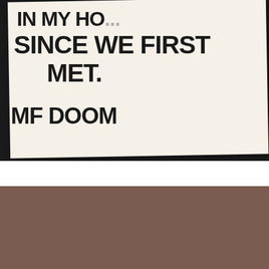[Figure (photo): A handwritten note on cream/beige paper against dark background. The handwritten text in large black marker letters reads (partially visible at top): 'IN MY HO... SINCE WE FIRST MET.' and at the bottom 'MF DOOM']
[Figure (screenshot): A web interface showing social sharing buttons (Pinterest, Facebook), 'helpful' and 'non helpful' buttons, a 'CLOSE' button, and an advertisement for '37 GENIUS AMAZON PRODUCTS THAT CAN BE USED BY ANYONE' from 22Words. Below is a quote partially visible: 'RESTRUCTURE HUMAN NATURE.']